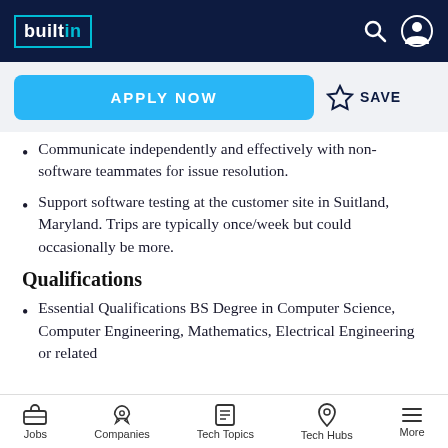builtin
Communicate independently and effectively with non-software teammates for issue resolution.
Support software testing at the customer site in Suitland, Maryland. Trips are typically once/week but could occasionally be more.
Qualifications
Essential Qualifications BS Degree in Computer Science, Computer Engineering, Mathematics, Electrical Engineering or related
Jobs  Companies  Tech Topics  Tech Hubs  More